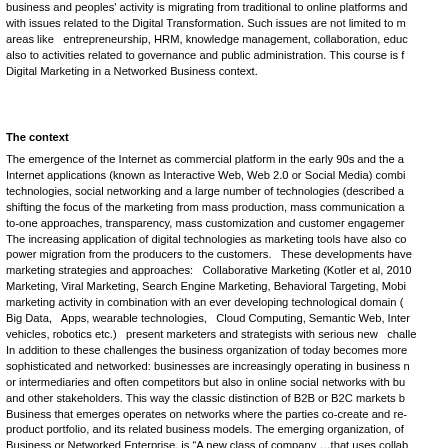business and peoples' activity is migrating from traditional to online platforms and with issues related to the Digital Transformation. Such issues are not limited to m areas like  entrepreneurship, HRM, knowledge management, collaboration, educ also to activities related to governance and public administration. This course is f Digital Marketing in a Networked Business context.
The context
The emergence of the Internet as commercial platform in the early 90s and the a Internet applications (known as Interactive Web, Web 2.0 or Social Media) combi technologies, social networking and a large number of technologies (described a shifting the focus of the marketing from mass production, mass communication a to-one approaches, transparency, mass customization and customer engagemer The increasing application of digital technologies as marketing tools have also co power migration from the producers to the customers.  These developments have marketing strategies and approaches:  Collaborative Marketing (Kotler et al, 2010 Marketing, Viral Marketing, Search Engine Marketing, Behavioral Targeting, Mobi marketing activity in combination with an ever developing technological domain ( Big Data,  Apps, wearable technologies,  Cloud Computing, Semantic Web, Inter vehicles, robotics etc.)  present marketers and strategists with serious new  challe In addition to these challenges the business organization of today becomes more sophisticated and networked: businesses are increasingly operating in business n or intermediaries and often competitors but also in online social networks with bu and other stakeholders. This way the classic distinction of B2B or B2C markets b Business that emerges operates on networks where the parties co-create and re- product portfolio, and its related business models. The emerging organization, of Business or Networked Enterprise, is "A new class of company …that uses collab connect its employees and to forge close networks with customers, business par Quarterly, 2011). Managing the Networked Business requires new approaches, n new managerial  capabilities. Next to that, organizational adaptability and agility a of market success. New Digital Marketing strategies are one of the most crucial s Businesses.
The module will introduce the students to the various aspects of the Digital Marke knowledge on managing the marketing activities of a networked business enterp